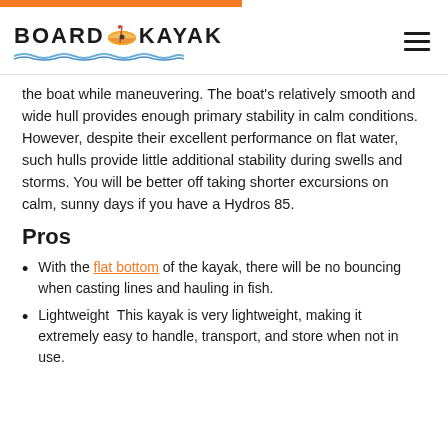BOARD KAYAK
the boat while maneuvering. The boat's relatively smooth and wide hull provides enough primary stability in calm conditions. However, despite their excellent performance on flat water, such hulls provide little additional stability during swells and storms. You will be better off taking shorter excursions on calm, sunny days if you have a Hydros 85.
Pros
With the flat bottom of the kayak, there will be no bouncing when casting lines and hauling in fish.
Lightweight  This kayak is very lightweight, making it extremely easy to handle, transport, and store when not in use.